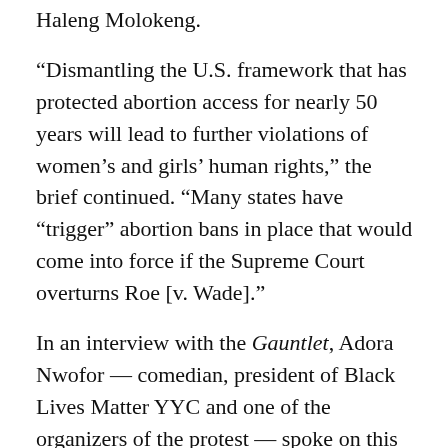Haleng Molokeng.
“Dismantling the U.S. framework that has protected abortion access for nearly 50 years will lead to further violations of women’s and girls’ human rights,” the brief continued. “Many states have “trigger” abortion bans in place that would come into force if the Supreme Court overturns Roe [v. Wade].”
In an interview with the Gauntlet, Adora Nwofor — comedian, president of Black Lives Matter YYC and one of the organizers of the protest — spoke on this issue and the Bans Off Our Bodies protest.
“I would say there were maybe about 300 people there,” said Nwofor. “[That’s] not enough. It is